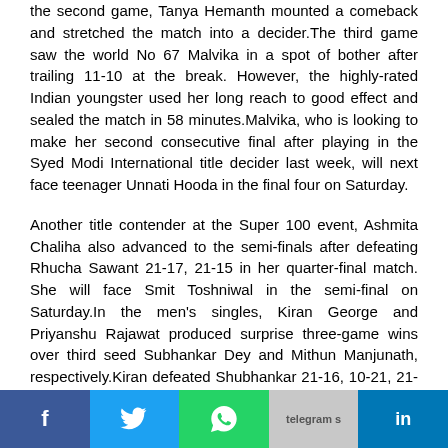the second game, Tanya Hemanth mounted a comeback and stretched the match into a decider.The third game saw the world No 67 Malvika in a spot of bother after trailing 11-10 at the break. However, the highly-rated Indian youngster used her long reach to good effect and sealed the match in 58 minutes.Malvika, who is looking to make her second consecutive final after playing in the Syed Modi International title decider last week, will next face teenager Unnati Hooda in the final four on Saturday.
Another title contender at the Super 100 event, Ashmita Chaliha also advanced to the semi-finals after defeating Rhucha Sawant 21-17, 21-15 in her quarter-final match. She will face Smit Toshniwal in the semi-final on Saturday.In the men's singles, Kiran George and Priyanshu Rajawat produced surprise three-game wins over third seed Subhankar Dey and Mithun Manjunath, respectively.Kiran defeated Shubhankar 21-16, 10-21, 21-19 while Priyanshu registered a 13-21, 21-14, 21-8 win over Mithun. Kiran will next face Ansal Yadav while Priyanshu, winne' of last year's Ukraine International, will be up against Kaushal Dharmamer in their semi-final matches.Meanwhile, the women's doubles pair of Treesa Jolly and Gayatri Gopichand took just 13 minutes for a routine 21-
[Figure (infographic): Social media share buttons: Facebook (blue), Twitter (blue), WhatsApp (green), Telegram (grey with image), LinkedIn (blue)]